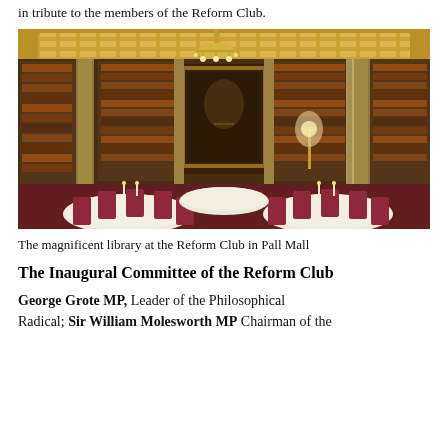in tribute to the members of the Reform Club.
[Figure (photo): Interior photograph of the magnificent library at the Reform Club in Pall Mall, showing ornate gilded ceiling, crystal chandeliers, floor-to-ceiling bookshelves, tall columns, and round dining tables set with white linen and red chairs.]
The magnificent library at the Reform Club in Pall Mall
The Inaugural Committee of the Reform Club
George Grote MP, Leader of the Philosophical Radical; Sir William Molesworth MP Chairman of the